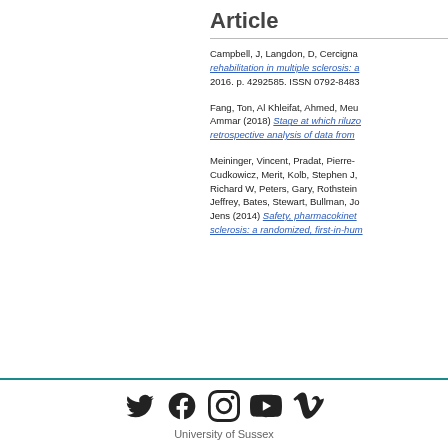Article
Campbell, J, Langdon, D, Cercigna... rehabilitation in multiple sclerosis: a... 2016. p. 4292585. ISSN 0792-8483...
Fang, Ton, Al Khleifat, Ahmed, Meu... Ammar (2018) Stage at which rilu... retrospective analysis of data from...
Meininger, Vincent, Pradat, Pierre-... Cudkowicz, Merit, Kolb, Stephen J,... Richard W, Peters, Gary, Rothstein... Jeffrey, Bates, Stewart, Bullman, Jo... Jens (2014) Safety, pharmacokinet... sclerosis: a randomized, first-in-hum...
[Figure (infographic): Social media icons: Twitter, Facebook, Instagram, YouTube, Vimeo]
University of Sussex